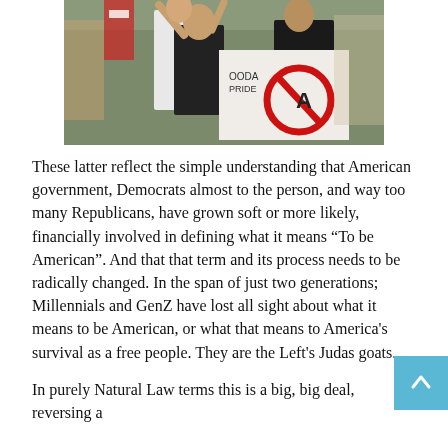[Figure (photo): Protesters at a rally, including children, holding signs. One sign has a red circle-slash symbol over text. People are raising fists and holding flags.]
These latter reflect the simple understanding that American government, Democrats almost to the person, and way too many Republicans, have grown soft or more likely, financially involved in defining what it means “To be American”. And that that term and its process needs to be radically changed. In the span of just two generations; Millennials and GenZ have lost all sight about what it means to be American, or what that means to America's survival as a free people. They are the Left's Judas goats.
In purely Natural Law terms this is a big, big deal, reversing a